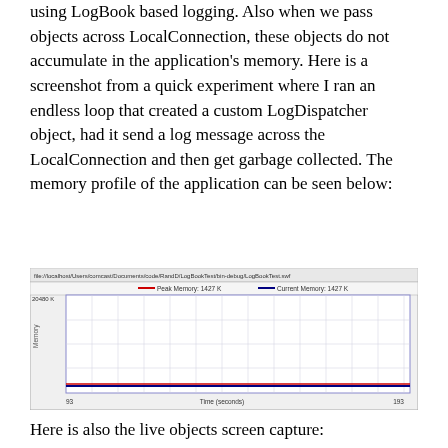using LogBook based logging. Also when we pass objects across LocalConnection, these objects do not accumulate in the application's memory. Here is a screenshot from a quick experiment where I ran an endless loop that created a custom LogDispatcher object, had it send a log message across the LocalConnection and then get garbage collected. The memory profile of the application can be seen below:
[Figure (screenshot): Memory profiler screenshot showing file path file://localhost/Users/comcast/Documents/code/RandD/LogBookTest/bin-debug/LogBookTest.swf with Peak Memory: 1427 K (red line) and Current Memory: 1427 K (blue line). Y-axis labeled Memory with max 20480 K. X-axis labeled Time (seconds) from 93 to 193. Both lines appear flat near the bottom of the chart.]
Here is also the live objects screen capture: